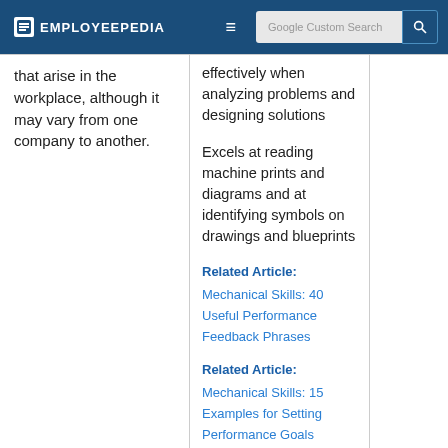Employeepedia | Google Custom Search
that arise in the workplace, although it may vary from one company to another.
effectively when analyzing problems and designing solutions
Excels at reading machine prints and diagrams and at identifying symbols on drawings and blueprints
Related Article: Mechanical Skills: 40 Useful Performance Feedback Phrases
Related Article: Mechanical Skills: 15 Examples for Setting Performance Goals